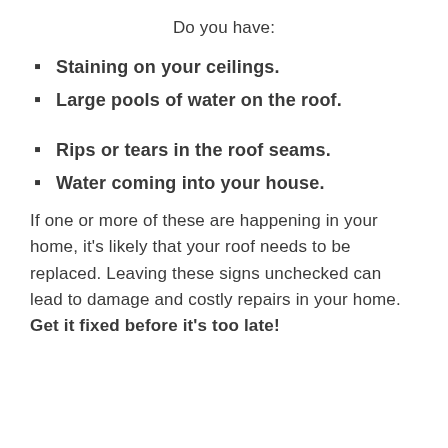Do you have:
Staining on your ceilings.
Large pools of water on the roof.
Rips or tears in the roof seams.
Water coming into your house.
If one or more of these are happening in your home, it's likely that your roof needs to be replaced. Leaving these signs unchecked can lead to damage and costly repairs in your home. Get it fixed before it's too late!